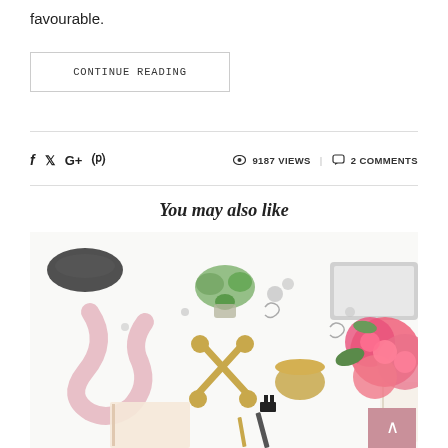favourable.
CONTINUE READING
f  𝕏  G+  ⊕   9187 VIEWS  |  💬 2 COMMENTS
You may also like
[Figure (photo): Flatlay desk scene with scissors, flowers, succulents, laptop, ribbons, notebooks, and stationery on white background.]